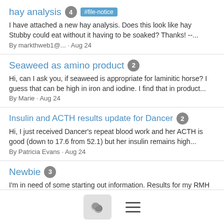hay analysis 4 #file-notice
I have attached a new hay analysis. Does this look like hay Stubby could eat without it having to be soaked? Thanks! --...
By markthweb1@... · Aug 24
Seaweed as amino product 2
Hi, can I ask you, if seaweed is appropriate for laminitic horse? I guess that can be high in iron and iodine. I find that in product...
By Marie · Aug 24
Insulin and ACTH results update for Dancer 2
Hi, I just received Dancer's repeat blood work and her ACTH is good (down to 17.6 from 52.1) but her insulin remains high...
By Patricia Evans · Aug 24
Newbie 3
I'm in need of some starting out information. Results for my RMH gelding from Cornell acth baseline 56.1 (2-30) insulin baseline...
By adrienne price · Aug 23
[Figure (screenshot): Bottom navigation bar with a chat bubble icon button and a hamburger menu icon]